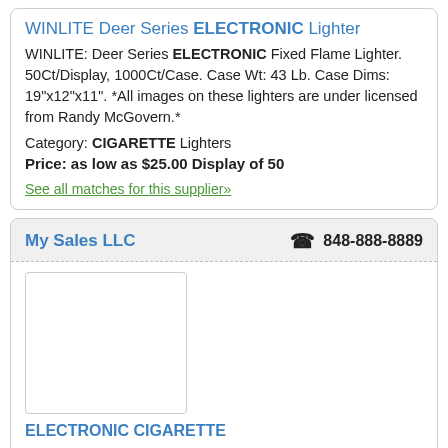WINLITE Deer Series ELECTRONIC Lighter
WINLITE: Deer Series ELECTRONIC Fixed Flame Lighter. 50Ct/Display, 1000Ct/Case. Case Wt: 43 Lb. Case Dims: 19"x12"x11". *All images on these lighters are under licensed from Randy McGovern.*
Category: CIGARETTE Lighters
Price: as low as $25.00 Display of 50
See all matches for this supplier»
My Sales LLC  848-888-8889
[Figure (photo): Product image placeholder box (empty white rectangle with border)]
ELECTRONIC CIGARETTE
Category: C-Store
Price: 2.5
item uploaded: 08/11/2022